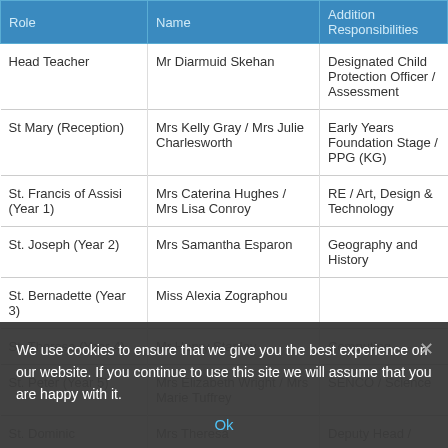| Role | Name | Addition Responsibilities |
| --- | --- | --- |
| Head Teacher | Mr Diarmuid Skehan | Designated Child Protection Officer / Assessment |
| St Mary (Reception) | Mrs Kelly Gray / Mrs Julie Charlesworth | Early Years Foundation Stage / PPG (KG) |
| St. Francis of Assisi (Year 1) | Mrs Caterina Hughes / Mrs Lisa Conroy | RE / Art, Design & Technology |
| St. Joseph (Year 2) | Mrs Samantha Esparon | Geography and History |
| St. Bernadette (Year 3) | Miss Alexia Zographou |  |
| St. Theresa (Year 4) | Mr Henry Stanley | Computing |
| St. Peter (Year 5) | Mrs Elizabeth Wright / Mrs Marie Tuffrey | SENCO / Science |
| St. Dominic (Year 6) | Mrs Theresa ... | Deputy Head / ... |
We use cookies to ensure that we give you the best experience on our website. If you continue to use this site we will assume that you are happy with it.